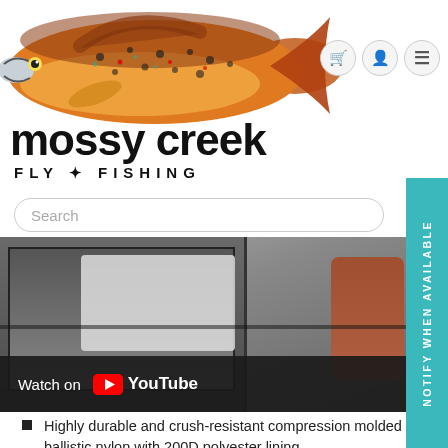[Figure (logo): Mossy Creek Fly Fishing logo with illustrated brown trout fish above the text. Three navigation icons (cart, user, menu) in circular buttons top right.]
Search
[Figure (screenshot): YouTube video thumbnail showing open luggage/bag with fabric visible. Overlay bar reads 'Watch on YouTube'.]
Highly durable and crush-resistant compression molded ballistic nylon with 200D polyester lining.